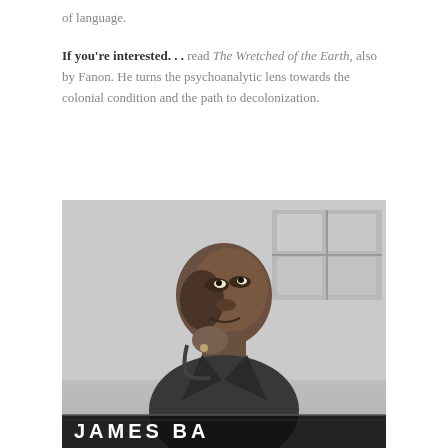of language.
If you're interested. . . read The Wretched of the Earth, also by Fanon. He turns the psychoanalytic lens towards the colonial condition and the path to decolonization.
[Figure (photo): Black and white photograph of a man looking upward with his hand raised near his chin. A sign reading 'JAMES BA[LDWIN]' is visible at the bottom of the image.]